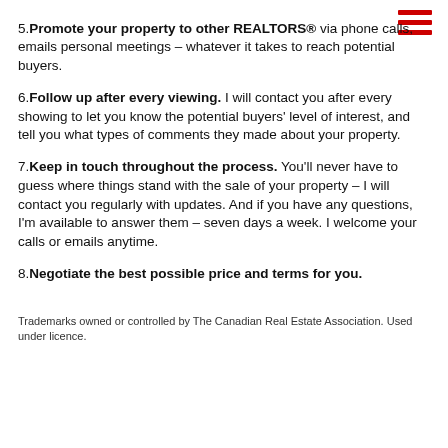5. Promote your property to other REALTORS® via phone calls, emails personal meetings – whatever it takes to reach potential buyers.
6. Follow up after every viewing. I will contact you after every showing to let you know the potential buyers' level of interest, and tell you what types of comments they made about your property.
7. Keep in touch throughout the process. You'll never have to guess where things stand with the sale of your property – I will contact you regularly with updates. And if you have any questions, I'm available to answer them – seven days a week. I welcome your calls or emails anytime.
8. Negotiate the best possible price and terms for you.
Trademarks owned or controlled by The Canadian Real Estate Association. Used under licence.